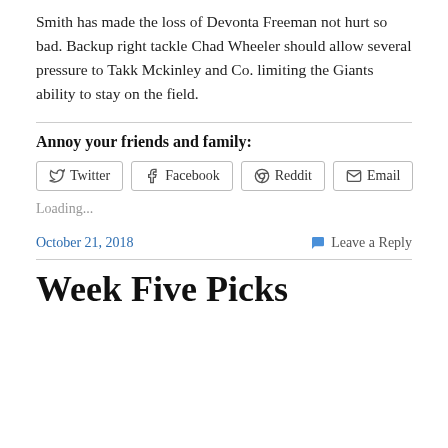Smith has made the loss of Devonta Freeman not hurt so bad. Backup right tackle Chad Wheeler should allow several pressure to Takk Mckinley and Co. limiting the Giants ability to stay on the field.
Annoy your friends and family:
[Figure (other): Social share buttons: Twitter, Facebook, Reddit, Email]
Loading...
October 21, 2018    Leave a Reply
Week Five Picks